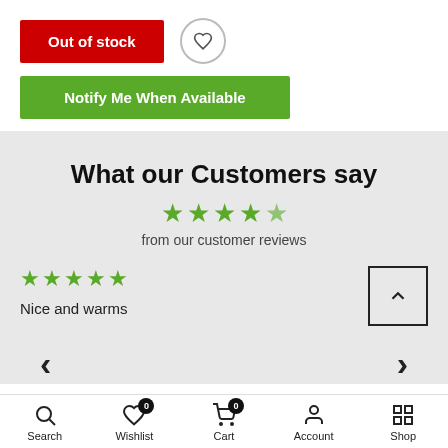Out of stock
Notify Me When Available
What our Customers say
from our customer reviews
Nice and warms
Search | Wishlist 0 | Cart 0 | Account | Shop